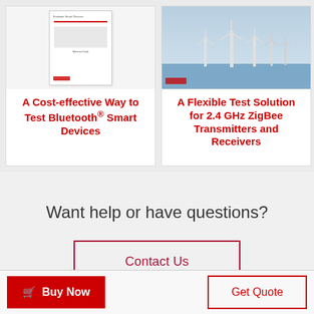[Figure (screenshot): Card with document thumbnail showing 'A Cost-effective Way to Test Bluetooth® Smart Devices' in red bold text]
[Figure (screenshot): Card with windmill/offshore wind farm photo and 'A Flexible Test Solution for 2.4 GHz ZigBee Transmitters and Receivers' in red bold text]
Want help or have questions?
Contact Us
Buy Now
Get Quote